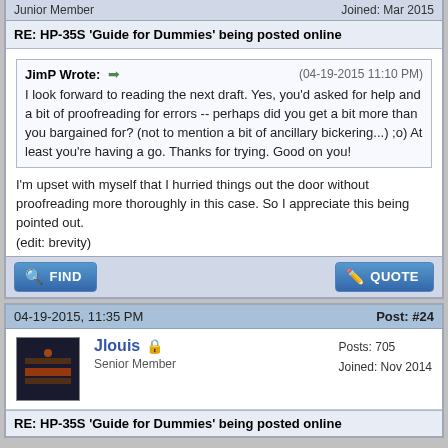Junior Member
Joined: Mar 2015
RE: HP-35S 'Guide for Dummies' being posted online
JimP Wrote: ➡ (04-19-2015 11:10 PM)
I look forward to reading the next draft. Yes, you'd asked for help and a bit of proofreading for errors -- perhaps did you get a bit more than you bargained for? (not to mention a bit of ancillary bickering...) ;o) At least you're having a go. Thanks for trying. Good on you!
I'm upset with myself that I hurried things out the door without proofreading more thoroughly in this case. So I appreciate this being pointed out.
(edit: brevity)
04-19-2015, 11:35 PM
Post: #24
Jlouis
Senior Member
Posts: 705
Joined: Nov 2014
RE: HP-35S 'Guide for Dummies' being posted online